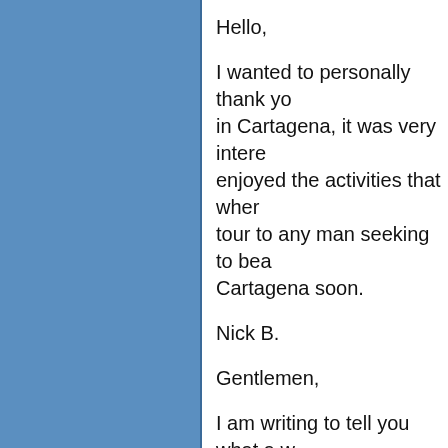Hello,
I wanted to personally thank you in Cartagena, it was very interesting, enjoyed the activities that when tour to any man seeking to bea Cartagena soon.
Nick B.
Gentlemen,
I am writing to tell you what a w with you two times to St. Peter the people very friendly.
The staff you have in Cartagen memorable one. I cannot say e She went out of her way to tak interpreters were also fantastic made you feel welcome. I also
I had a great time and will defin meet beautiful, intelligent wom